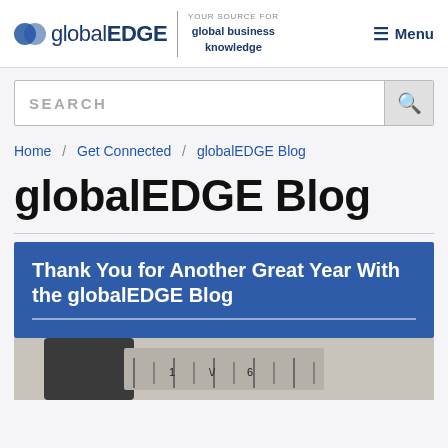globalEDGE | YOUR SOURCE FOR global business knowledge | ≡ Menu
SEARCH
Home / Get Connected / globalEDGE Blog
globalEDGE Blog
Thank You for Another Great Year With the globalEDGE Blog
[Figure (photo): Close-up photograph of a compass or measuring instrument, partially cropped at the bottom of the page.]